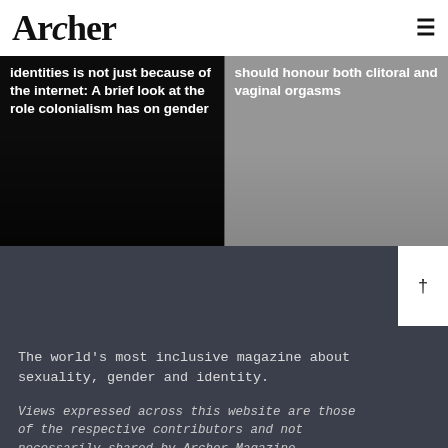Archer
[Figure (photo): Article card with dark background and white bold text: 'identities is not just because of the internet: A brief look at the role colonialism has on gender']
[Figure (photo): Article card with grey textured background and white bold text: 'should honour both clitoral and vaginal orgasms']
The world's most inclusive magazine about sexuality, gender and identity.
Views expressed across this website are those of the respective contributors and not necessarily shared by Archer Magazine
© 2022 Archer Magazine